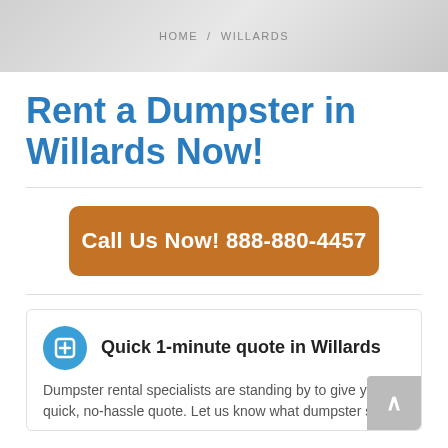HOME / WILLARDS
Rent a Dumpster in Willards Now!
Call Us Now! 888-880-4457
Quick 1-minute quote in Willards
Dumpster rental specialists are standing by to give you a quick, no-hassle quote. Let us know what dumpster size